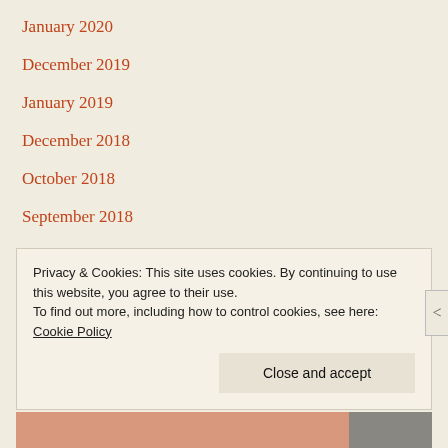January 2020
December 2019
January 2019
December 2018
October 2018
September 2018
August 2018
July 2018
March 2018
January 2018
Privacy & Cookies: This site uses cookies. By continuing to use this website, you agree to their use. To find out more, including how to control cookies, see here: Cookie Policy
Close and accept